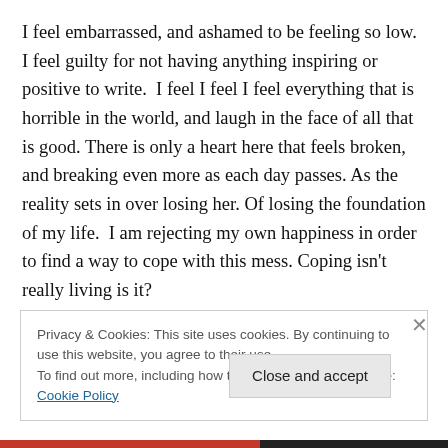I feel embarrassed, and ashamed to be feeling so low. I feel guilty for not having anything inspiring or positive to write.  I feel I feel I feel everything that is horrible in the world, and laugh in the face of all that is good. There is only a heart here that feels broken, and breaking even more as each day passes. As the reality sets in over losing her. Of losing the foundation of my life.  I am rejecting my own happiness in order to find a way to cope with this mess. Coping isn't really living is it?

The opportunities ahead of me taunt me like the piece of
Privacy & Cookies: This site uses cookies. By continuing to use this website, you agree to their use.
To find out more, including how to control cookies, see here: Cookie Policy
Close and accept